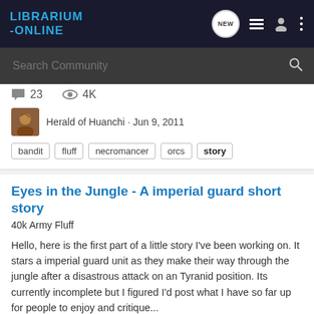LIBRARIUM-ONLINE
Search Community
23 comments · 4K views
Herald of Huanchi · Jun 9, 2011
bandit  fluff  necromancer  orcs  story
Eyes in the Jungle - A imperial guard short story
40k Army Fluff
Hello, here is the first part of a little story I've been working on. It stars a imperial guard unit as they make their way through the jungle after a disastrous attack on an Tyranid position. Its currently incomplete but I figured I'd post what I have so far up for people to enjoy and critique...
5 comments · 5K views